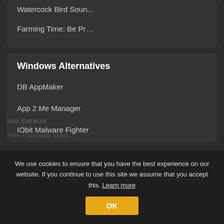Watercock Bird Soun...
Farming Time: Be Pr…
Windows Alternatives
DB AppMaker
App 2 Me Manager
IObit Malware Fighter
Icon Extractor
Free Facebook Video...
We use cookies to ensure that you have the best experience on our website. If you continue to use this site we assume that you accept this. Learn more
OK